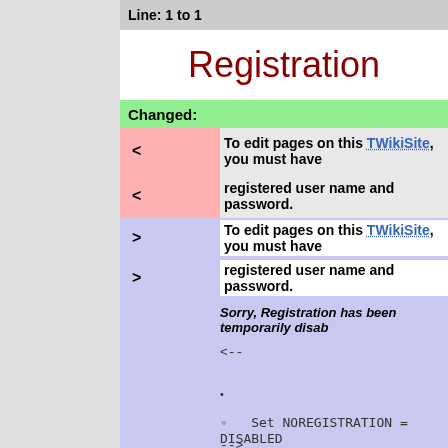Line: 1 to 1
Registration
Changed:
< To edit pages on this TWikiSite, you must have a registered user name and password.
> To edit pages on this TWikiSite, you must have a registered user name and password.

Sorry, Registration has been temporarily disabled

<!--

   *

      o   Set NOREGISTRATION = DISABLED

-->